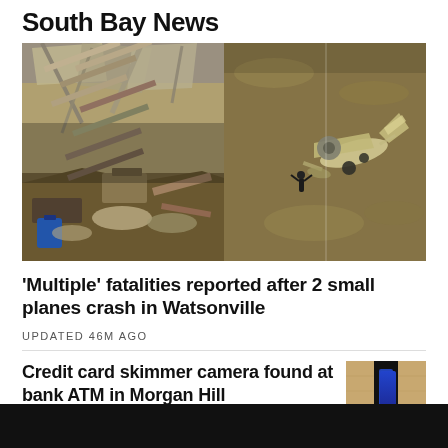South Bay News
[Figure (photo): Two side-by-side photos: left shows crash debris inside a destroyed metal building/hangar; right shows aerial view of a crashed small plane on dirt ground with a person standing nearby]
'Multiple' fatalities reported after 2 small planes crash in Watsonville
UPDATED 46M AGO
Credit card skimmer camera found at bank ATM in Morgan Hill
[Figure (photo): Thumbnail image showing a blue credit card skimmer device found at a bank ATM, displayed against a wooden panel]